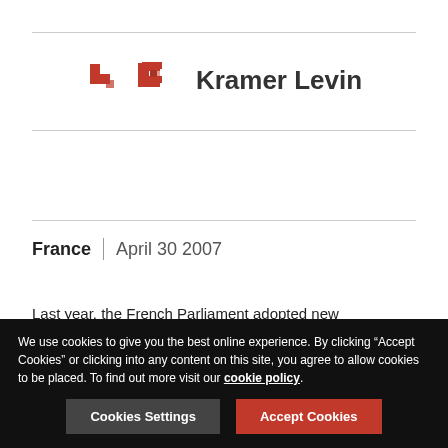[Figure (logo): Kramer Levin law firm logo with orange/red geometric arrow icon and firm name in dark text]
France | April 30 2007
Last year, the French Parliament adopted new immigration rules for the hiring of foreign workers in France (Law of July 24, 2006, hereinafter referred to as the "Law"). Two decrees dated November 14 and November 15, 2006 provide additional explanations of the policies. With this Law, the French immigration system, traditionally perceived as
We use cookies to give you the best online experience. By clicking "Accept Cookies" or clicking into any content on this site, you agree to allow cookies to be placed. To find out more visit our cookie policy.